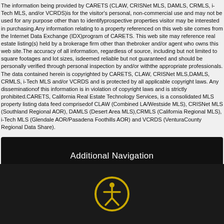The information being provided by CARETS (CLAW, CRISNet MLS, DAMLS, CRMLS, i-Tech MLS, and/or VCRDS)is for the visitor's personal, non-commercial use and may not be used for any purpose other than to identifyprospective properties visitor may be interested in purchasing.Any information relating to a property referenced on this web site comes from the Internet Data Exchange (IDX)program of CARETS. This web site may reference real estate listing(s) held by a brokerage firm other than thebroker and/or agent who owns this web site.The accuracy of all information, regardless of source, including but not limited to square footages and lot sizes, isdeemed reliable but not guaranteed and should be personally verified through personal inspection by and/or withthe appropriate professionals. The data contained herein is copyrighted by CARETS, CLAW, CRISNet MLS,DAMLS, CRMLS, i-Tech MLS and/or VCRDS and is protected by all applicable copyright laws. Any disseminationof this information is in violation of copyright laws and is strictly prohibited.CARETS, California Real Estate Technology Services, is a consolidated MLS property listing data feed comprisedof CLAW (Combined LA/Westside MLS), CRISNet MLS (Southland Regional AOR), DAMLS (Desert Area MLS),CRMLS (California Regional MLS), i-Tech MLS (Glendale AOR/Pasadena Foothills AOR) and VCRDS (VenturaCounty Regional Data Share).
Additional Navigation
[Figure (other): Accessibility icon — person in circle with yellow border on dark background]